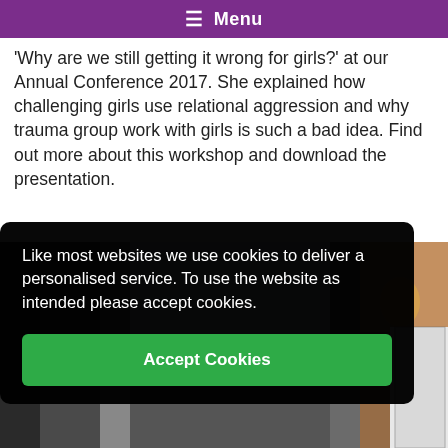≡ Menu
'Why are we still getting it wrong for girls?' at our Annual Conference 2017. She explained how challenging girls use relational aggression and why trauma group work with girls is such a bad idea. Find out more about this workshop and download the presentation.
[Figure (photo): Conference room photo showing a presenter and attendees, partially obscured by cookie consent overlay]
Like most websites we use cookies to deliver a personalised service. To use the website as intended please accept cookies.
Accept Cookies